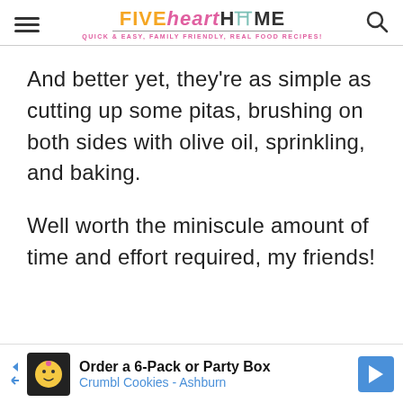FIVE heart HOME — Quick & Easy, Family Friendly, Real Food Recipes!
And better yet, they're as simple as cutting up some pitas, brushing on both sides with olive oil, sprinkling, and baking.
Well worth the miniscule amount of time and effort required, my friends!
[Figure (other): Advertisement banner: Order a 6-Pack or Party Box — Crumbl Cookies - Ashburn]